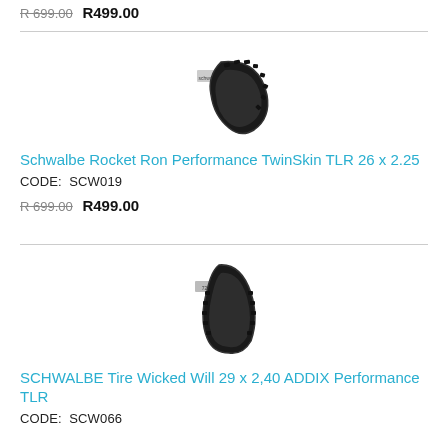R 699.00  R499.00
[Figure (photo): Schwalbe Rocket Ron mountain bike tire, black, curved profile view]
Schwalbe Rocket Ron Performance TwinSkin TLR 26 x 2.25
CODE:  SCW019
R 699.00  R499.00
[Figure (photo): Schwalbe Wicked Will mountain bike tire, black, upright profile view]
SCHWALBE Tire Wicked Will 29 x 2,40 ADDIX Performance TLR
CODE:  SCW066